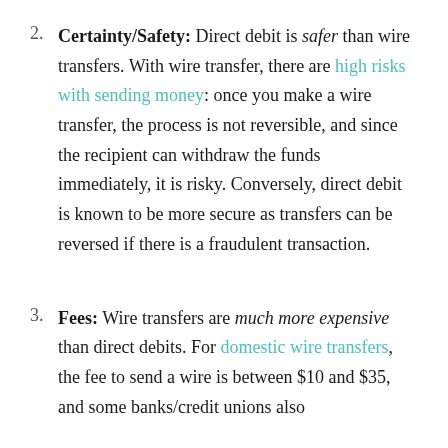2. Certainty/Safety: Direct debit is safer than wire transfers. With wire transfer, there are high risks with sending money: once you make a wire transfer, the process is not reversible, and since the recipient can withdraw the funds immediately, it is risky. Conversely, direct debit is known to be more secure as transfers can be reversed if there is a fraudulent transaction.
3. Fees: Wire transfers are much more expensive than direct debits. For domestic wire transfers, the fee to send a wire is between $10 and $35, and some banks/credit unions also